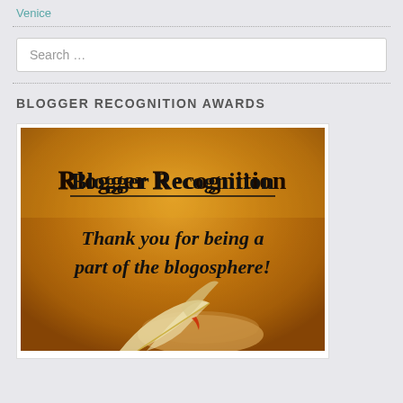Venice
Search …
BLOGGER RECOGNITION AWARDS
[Figure (illustration): Blogger Recognition award image with old parchment background, quill pen, and text 'Blogger Recognition' and 'Thank you for being a part of the blogosphere!']